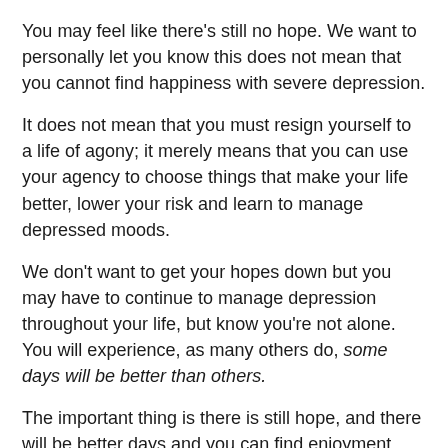You may feel like there's still no hope. We want to personally let you know this does not mean that you cannot find happiness with severe depression.
It does not mean that you must resign yourself to a life of agony; it merely means that you can use your agency to choose things that make your life better, lower your risk and learn to manage depressed moods.
We don't want to get your hopes down but you may have to continue to manage depression throughout your life, but know you're not alone. You will experience, as many others do, some days will be better than others.
The important thing is there is still hope, and there will be better days and you can find enjoyment, laughter and fun.
First, accept your situation and mental health condition because acceptance will start the healing process and begin managing depressive episodes.